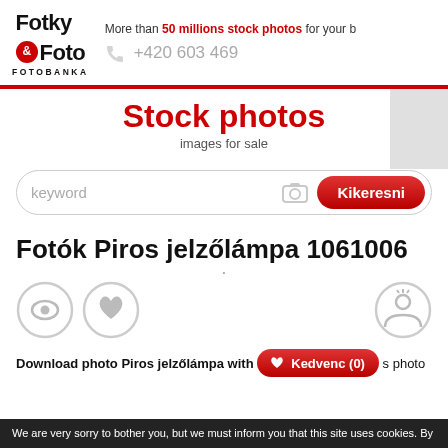[Figure (logo): Fotky & Foto Fotobanka logo with red circle ampersand]
More than 50 millions stock photos for your b
+420 603 469
Stock photos
images for sale
keyword
Kikeresni
Fotók Piros jelzőlámpa 1061006
Download photo Piros jelzőlámpa with
Kedvenc (0)
s photo
We are very sorry to bother you, but we must inform you that this site uses cookies. By